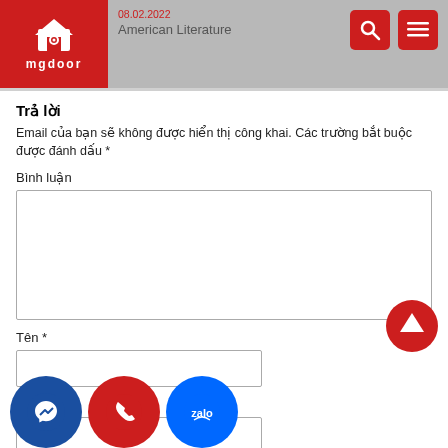08.02.2022  American Literature — mgdoor logo header with search and menu icons
Trả lời
Email của bạn sẽ không được hiển thị công khai. Các trường bắt buộc được đánh dấu *
Bình luận
Tên *
Email *
Trang web